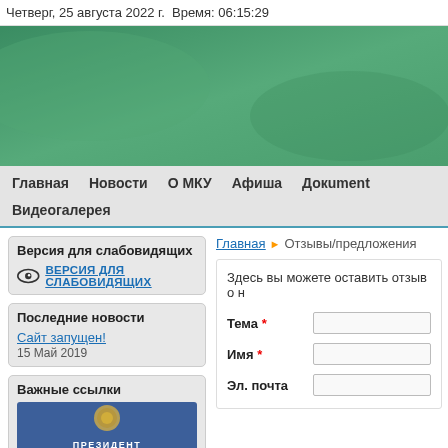Четверг, 25 августа 2022 г.  Время: 06:15:29
[Figure (illustration): Green banner/header image for the website]
Главная  Новости  О МКУ  Афиша  Докument  Видеогалерея
Версия для слабовидящих
ВЕРСИЯ ДЛЯ СЛАБОВИДЯЩИХ
Последние новости
Сайт запущен!
15 Май 2019
Важные ссылки
Главная ▶ Отзывы/предложения
Здесь вы можете оставить отзыв о н
Тема *
Имя *
Эл. почта